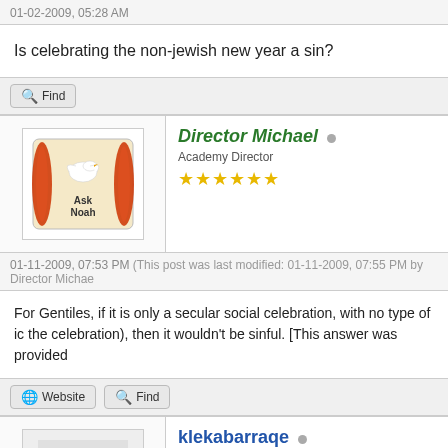01-02-2009, 05:28 AM
Is celebrating the non-jewish new year a sin?
Find
Director Michael — Academy Director — 6 stars
01-11-2009, 07:53 PM (This post was last modified: 01-11-2009, 07:55 PM by Director Michae
For Gentiles, if it is only a secular social celebration, with no type of ic the celebration), then it wouldn't be sinful. [This answer was provided
Website   Find
klekabarraqe — Junior Member — 2 stars